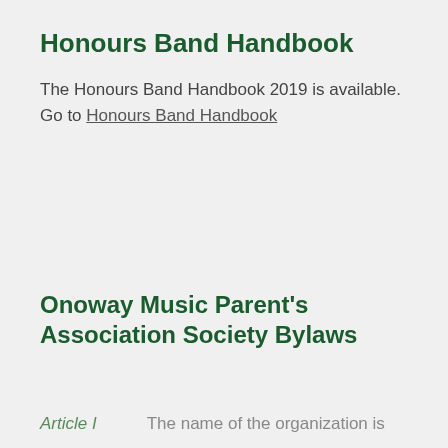Honours Band Handbook
The Honours Band Handbook 2019 is available. Go to Honours Band Handbook
Onoway Music Parent's Association Society Bylaws
Article I    The name of the organization is